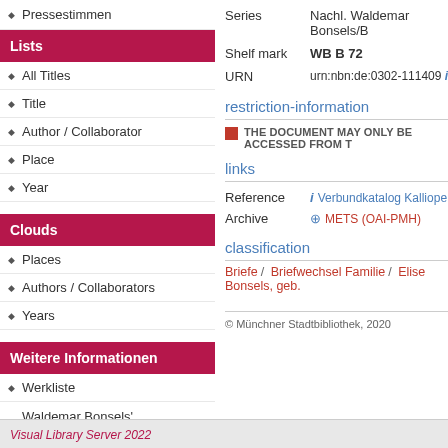Pressestimmen
Lists
All Titles
Title
Author / Collaborator
Place
Year
Clouds
Places
Authors / Collaborators
Years
Weitere Informationen
Werkliste
Waldemar Bonsels' Lebenslauf
Literaturhinweise
Series	Nachl. Waldemar Bonsels/B
Shelf mark	WB B 72
URN	urn:nbn:de:0302-111409 i
restriction-information
THE DOCUMENT MAY ONLY BE ACCESSED FROM T
links
Reference	i Verbundkatalog Kalliope
Archive	METS (OAI-PMH)
classification
Briefe / Briefwechsel Familie / Elise Bonsels, geb.
© Münchner Stadtbibliothek, 2020
Visual Library Server 2022